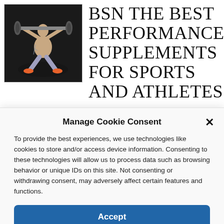[Figure (photo): Athlete performing a barbell clean or snatch exercise in a dark studio, shirtless, wearing shorts and orange shoes]
BSN THE BEST PERFORMANCE SUPPLEMENTS FOR SPORTS AND ATHLETES
December 4, 2021
Manage Cookie Consent
To provide the best experiences, we use technologies like cookies to store and/or access device information. Consenting to these technologies will allow us to process data such as browsing behavior or unique IDs on this site. Not consenting or withdrawing consent, may adversely affect certain features and functions.
Accept
Cookie Policy  Privacy Policy